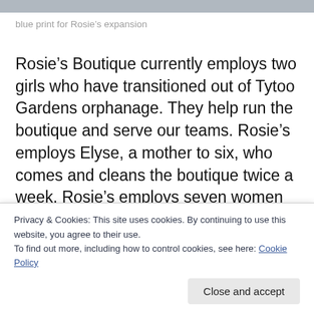[Figure (photo): Top image bar (cropped photo, partially visible)]
blue print for Rosie's expansion
Rosie's Boutique currently employs two girls who have transitioned out of Tytoo Gardens orphanage. They help run the boutique and serve our teams. Rosie's employs Elyse, a mother to six, who comes and cleans the boutique twice a week. Rosie's employs seven women through its gift card collection and we are looking for more boutiques and gift shops to sell our cards. Shoot me an email if you know anyone interested in selling our cards! Lastly, Salsa Sisters is operated under Rosie's effort to
Privacy & Cookies: This site uses cookies. By continuing to use this website, you agree to their use.
To find out more, including how to control cookies, see here: Cookie Policy